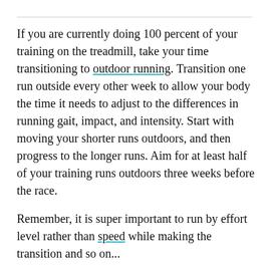If you are currently doing 100 percent of your training on the treadmill, take your time transitioning to outdoor running. Transition one run outside every other week to allow your body the time it needs to adjust to the differences in running gait, impact, and intensity. Start with moving your shorter runs outdoors, and then progress to the longer runs. Aim for at least half of your training runs outdoors three weeks before the race.
Remember, it is super important to run by effort level rather than speed while making the transition and so on...